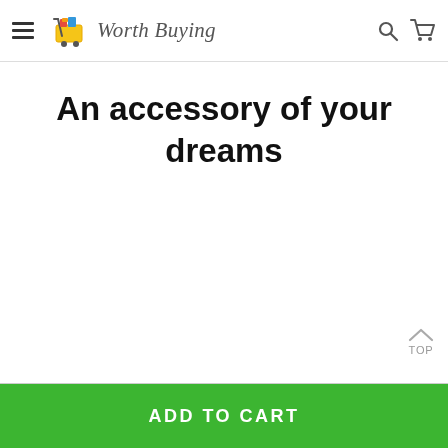Worth Buying
An accessory of your dreams
TOP
ADD TO CART